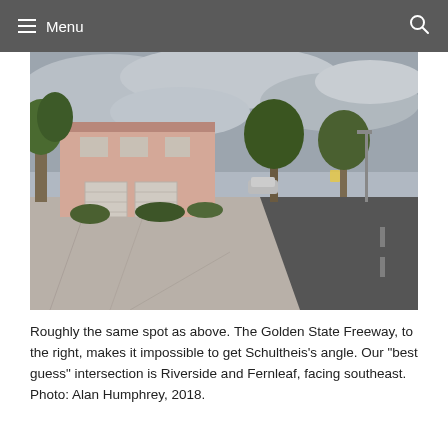Menu
[Figure (photo): Street-level photograph of a residential neighborhood intersection. A pink two-story house with garages is visible on the left. A wide road extends into the distance on the right, with trees lining both sides. A car is parked mid-distance. Overcast sky with grey clouds above.]
Roughly the same spot as above. The Golden State Freeway, to the right, makes it impossible to get Schultheis’s angle. Our “best guess” intersection is Riverside and Fernleaf, facing southeast. Photo: Alan Humphrey, 2018.